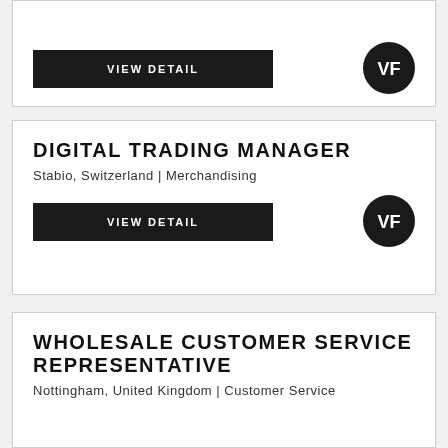[Figure (other): Partial job listing card at top of page with VIEW DETAIL button and VF logo]
DIGITAL TRADING MANAGER
Stabio, Switzerland | Merchandising
[Figure (other): VIEW DETAIL button]
[Figure (logo): VF Corporation logo - white VF on dark circle]
WHOLESALE CUSTOMER SERVICE REPRESENTATIVE
Nottingham, United Kingdom | Customer Service